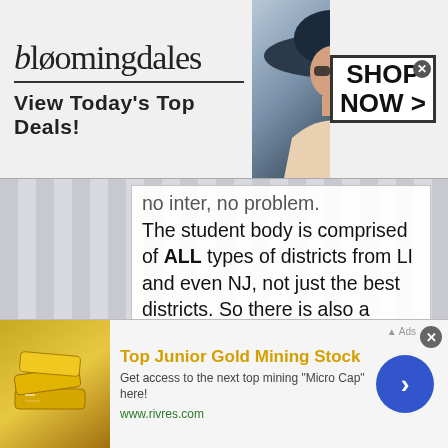[Figure (screenshot): Bloomingdales advertisement banner: logo text 'bloomingdales', tagline 'View Today's Top Deals!', photo of woman with large hat, 'SHOP NOW >' button with close X]
no inter, no problem. The student body is comprised of ALL types of districts from LI and even NJ, not just the best districts. So there is also a diversity among the student body.
Btw, these are facts and not my opinion.
Rich kids from the tri-state equal diversity?? A smart kid will excel and shine in any district. Having
[Figure (screenshot): Bottom advertisement: Top Junior Gold Mining Stock - Get access to the next top mining 'Micro Cap' here! www.rivres.com - with gold bars image and blue circular CTA button]